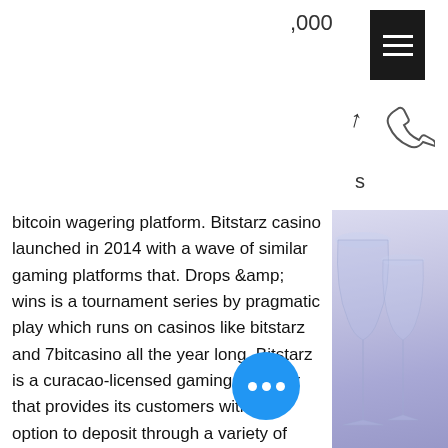[Figure (screenshot): Top navigation bar with hamburger menu icon (black rectangle with three white lines), ',000' text, navigation arrow, 's' text, and phone icon on right side]
bitcoin wagering platform. Bitstarz casino launched in 2014 with a wave of similar gaming platforms that. Drops &amp; wins is a tournament series by pragmatic play which runs on casinos like bitstarz and 7bitcasino all the year long. Bitstarz is a curacao-licensed gaming operator that provides its customers with the option to deposit through a variety of cryptocurrencies like bitcoin,. The only exception to this rule are casinos like bitstarz, which also cater to the fiat-crowd. What kind of a casino bonus can i get? bitcoin players are. Bitstarz comes in number one on our list of the best crypto gaming platforms that have been serving players since 2014. Players are allowed to play fiat or cryptocurrencies. The casino offers
[Figure (photo): Blueish-purple tinted photo of wine glasses on the right side of the page]